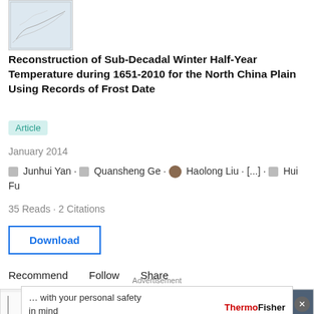[Figure (map): Small thumbnail map showing geographic region (North China Plain)]
Reconstruction of Sub-Decadal Winter Half-Year Temperature during 1651-2010 for the North China Plain Using Records of Frost Date
Article
January 2014
Junhui Yan · Quansheng Ge · Haolong Liu · [...] · Hui Fu
35 Reads · 2 Citations
Download
Recommend   Follow   Share
[Figure (other): Row of five article thumbnail preview images showing charts, graphs, and weather photos]
Advertisement
… with your personal safety in mind
Watch video ›
ThermoFisher SCIENTIFIC